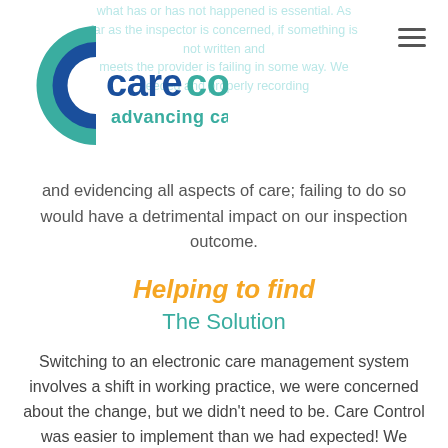[Figure (logo): Care Control logo with teal/blue C icon and 'carecontrol advancing care' text]
what has or has not happened is essential. As far as the inspector is concerned, if something is not written and meets the provider is failing in some way. We needed and properly recording and evidencing all aspects of care; failing to do so would have a detrimental impact on our inspection outcome.
Helping to find
The Solution
Switching to an electronic care management system involves a shift in working practice, we were concerned about the change, but we didn't need to be. Care Control was easier to implement than we had expected! We identified two “Care Control Champions” within the home who were enthusiastic about Care Control and embraced the change. They were responsible